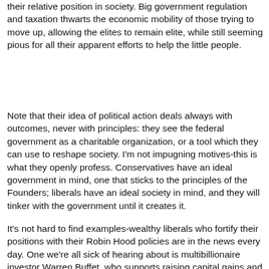their relative position in society. Big government regulation and taxation thwarts the economic mobility of those trying to move up, allowing the elites to remain elite, while still seeming pious for all their apparent efforts to help the little people.
Note that their idea of political action deals always with outcomes, never with principles: they see the federal government as a charitable organization, or a tool which they can use to reshape society. I'm not impugning motives-this is what they openly profess. Conservatives have an ideal government in mind, one that sticks to the principles of the Founders; liberals have an ideal society in mind, and they will tinker with the government until it creates it.
It's not hard to find examples-wealthy liberals who fortify their positions with their Robin Hood policies are in the news every day. One we're all sick of hearing about is multibillionaire investor Warren Buffet, who supports raising capital gains and dividend taxes, despite having made his fortune this way. While I respect Warren Buffett, and do not begrudge him his wealth and success, he makes a highly